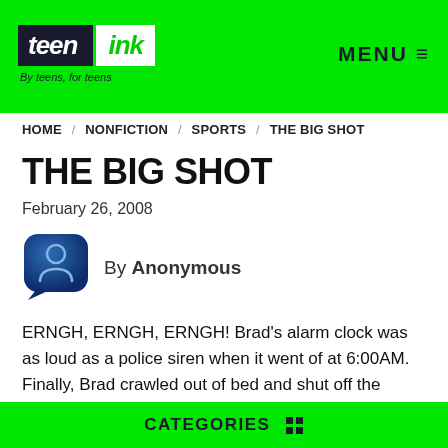[Figure (logo): Teen Ink logo — 'teen' in dark navy block, 'ink' in green on white block, tagline 'By teens, for teens' beneath]
MENU ≡
HOME / NONFICTION / SPORTS / THE BIG SHOT
THE BIG SHOT
February 26, 2008
[Figure (illustration): Anonymous user avatar — circular blue gradient icon with person silhouette outline]
By Anonymous
ERNGH, ERNGH, ERNGH! Brad's alarm clock was as loud as a police siren when it went of at 6:00AM. Finally, Brad crawled out of bed and shut off the alarm.
CATEGORIES ⊞